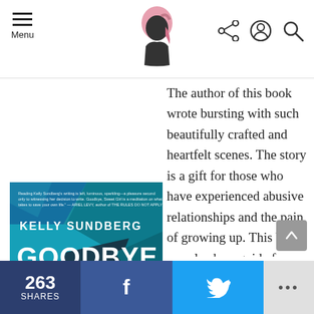Menu | [logo] | share, account, search icons
[Figure (illustration): Book cover for 'Goodbye, Sweet Girl' by Kelly Sundberg. Blue geometric/abstract design with cracked/shattered glass pattern. White text with author name and title.]
The author of this book wrote bursting with such beautifully crafted and heartfelt scenes. The story is a gift for those who have experienced abusive relationships and the pain of growing up. This book can also be a guide for those who seek insight and
263 SHARES | f | Twitter bird | ...